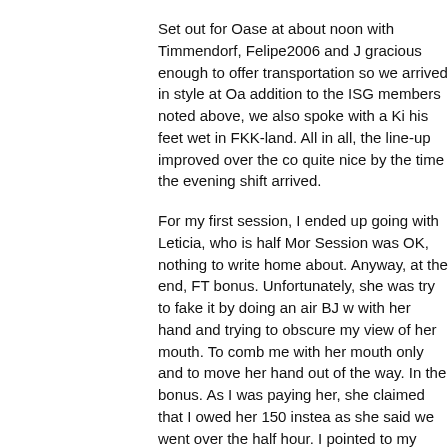Set out for Oase at about noon with Timmendorf, Felipe2006 and J... gracious enough to offer transportation so we arrived in style at Oa... addition to the ISG members noted above, we also spoke with a Ki... his feet wet in FKK-land. All in all, the line-up improved over the co... quite nice by the time the evening shift arrived.
For my first session, I ended up going with Leticia, who is half Mor... Session was OK, nothing to write home about. Anyway, at the end,... FT bonus. Unfortunately, she was try to fake it by doing an air BJ w... with her hand and trying to obscure my view of her mouth. To comb... me with her mouth only and to move her hand out of the way. In th... bonus. As I was paying her, she claimed that I owed her 150 instea... as she said we went over the half hour. I pointed to my watch, and ... we began and commented that it was now 21 minutes later. She b... apologized for the mistake. I let it go, but found it somewhat amusi... that this behavior is more commonplace at Palace.
While deciding on my second session, I noticed a woman who was... 185cm so that doesn't happen often). Her name was Mia and she i... very attractive in an unconventional way, dark short straight hair, a... well proportioned, but very tall. I was digging her look, so I approac... Kino we went. When asked, Mia stated that she is 188cm, a good 3... Kino festivities were quite nice. After a few minutes of a very spirite... to the room. As Mia was bent over spreading the towels on the bed... and noted that everything lined up nicely for a standing session. It's... a woman standing up without having to bend severely bend my leg... from behind with both of us standing (her bent over with her hands...